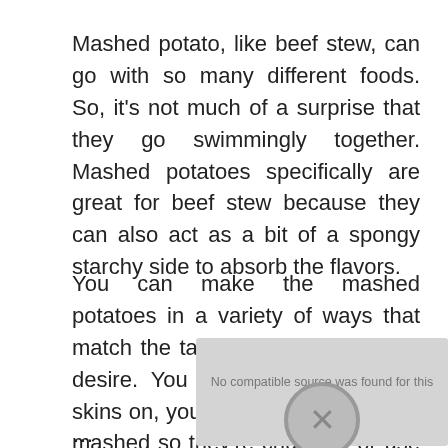Mashed potato, like beef stew, can go with so many different foods. So, it's not much of a surprise that they go swimmingly together. Mashed potatoes specifically are great for beef stew because they can also act as a bit of a spongy starchy side to absorb the flavors.
You can make the mashed potatoes in a variety of ways that match the taste or texture that you desire. You can leave the potato skins on, you can make the roughly mashed so they're chunkier, or use an electric mixer to make them creamier. And, you can boost the flavor as much or as little as you like by adding or omitting extras like salt, ...
[Figure (other): A gray overlay box displaying 'No compatible source was found for this media.' with an X close button, partially covering the text content.]